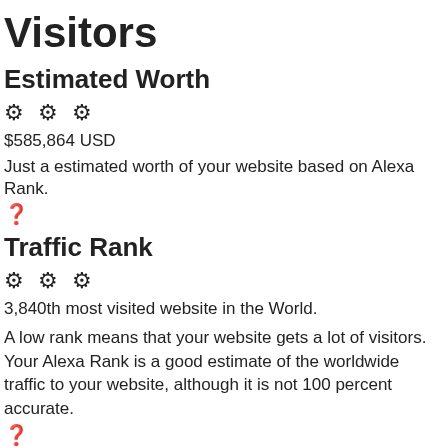Visitors
Estimated Worth
[Figure (other): Three gear/settings icons in a row]
$585,864 USD
Just a estimated worth of your website based on Alexa Rank.
[Figure (other): Question mark info icon]
Traffic Rank
[Figure (other): Three gear/settings icons in a row]
3,840th most visited website in the World.
A low rank means that your website gets a lot of visitors.
Your Alexa Rank is a good estimate of the worldwide traffic to your website, although it is not 100 percent accurate.
[Figure (other): Question mark info icon]
Link Analysis